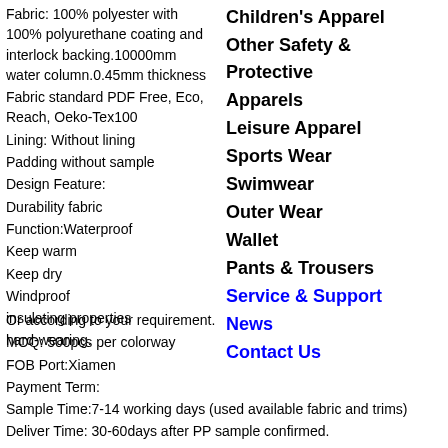Fabric: 100% polyester with 100% polyurethane coating and interlock backing.10000mm water column.0.45mm thickness
Fabric standard PDF Free, Eco, Reach, Oeko-Tex100
Lining: Without lining
Padding without sample
Design Feature:
Durability fabric
Function:Waterproof
Keep warm
Keep dry
Windproof
insulating properties
hard-wearing.
Children's Apparel
Other Safety & Protective
Apparels
Leisure Apparel
Sports Wear
Swimwear
Outer Wear
Wallet
Pants & Trousers
Service & Support
News
Contact Us
Or according to your requirement.
MOQ: 500pcs per colorway
FOB Port:Xiamen
Payment Term:
Sample Time:7-14 working days (used available fabric and trims)
Deliver Time: 30-60days after PP sample confirmed.